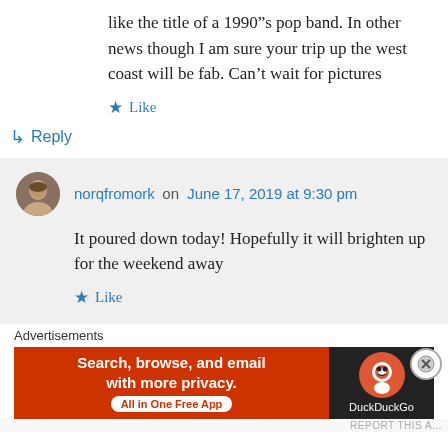like the title of a 1990’s pop band. In other news though I am sure your trip up the west coast will be fab. Can’t wait for pictures
★ Like
↳ Reply
norqfromork on June 17, 2019 at 9:30 pm
It poured down today! Hopefully it will brighten up for the weekend away
★ Like
Advertisements
[Figure (other): DuckDuckGo advertisement banner with orange left section reading 'Search, browse, and email with more privacy. All in One Free App' and dark right section with DuckDuckGo logo]